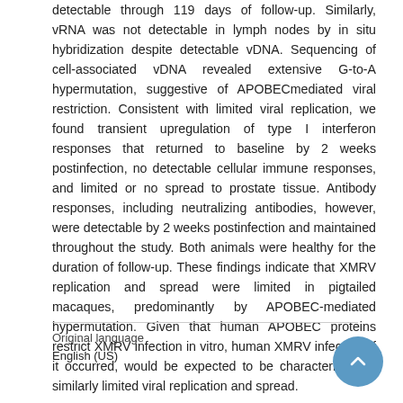detectable through 119 days of follow-up. Similarly, vRNA was not detectable in lymph nodes by in situ hybridization despite detectable vDNA. Sequencing of cell-associated vDNA revealed extensive G-to-A hypermutation, suggestive of APOBECmediated viral restriction. Consistent with limited viral replication, we found transient upregulation of type I interferon responses that returned to baseline by 2 weeks postinfection, no detectable cellular immune responses, and limited or no spread to prostate tissue. Antibody responses, including neutralizing antibodies, however, were detectable by 2 weeks postinfection and maintained throughout the study. Both animals were healthy for the duration of follow-up. These findings indicate that XMRV replication and spread were limited in pigtailed macaques, predominantly by APOBEC-mediated hypermutation. Given that human APOBEC proteins restrict XMRV infection in vitro, human XMRV infection, if it occurred, would be expected to be characterized by similarly limited viral replication and spread.
Original language
English (US)